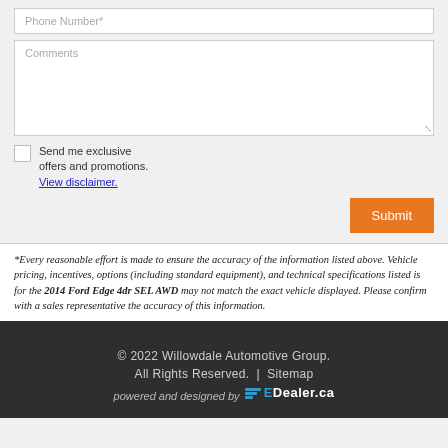Phone Number*
Comments
Send me exclusive offers and promotions. View disclaimer.
Submit
*Every reasonable effort is made to ensure the accuracy of the information listed above. Vehicle pricing, incentives, options (including standard equipment), and technical specifications listed is for the 2014 Ford Edge 4dr SEL AWD may not match the exact vehicle displayed. Please confirm with a sales representative the accuracy of this information.
© 2022 Willowdale Automotive Group. All Rights Reserved. | Sitemap powered and designed by EDealer.ca